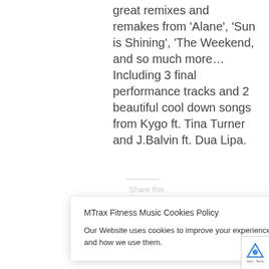great remixes and remakes from 'Alane', 'Sun is Shining', 'The Weekend, and so much more… Including 3 final performance tracks and 2 beautiful cool down songs from Kygo ft. Tina Turner and J.Balvin ft. Dua Lipa.
[Figure (screenshot): Cookie consent banner for MTrax Fitness Music with close button and link to Privacy and Cookie Policy]